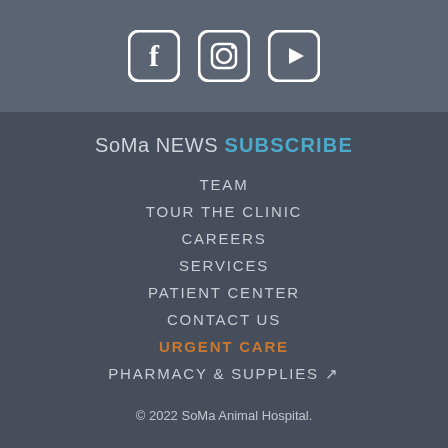[Figure (illustration): Three social media icons: Facebook, Instagram, YouTube, white rounded-square style on a slate-gray background]
SoMa NEWS SUBSCRIBE
TEAM
TOUR THE CLINIC
CAREERS
SERVICES
PATIENT CENTER
CONTACT US
URGENT CARE
PHARMACY & SUPPLIES ↗
© 2022 SoMa Animal Hospital.